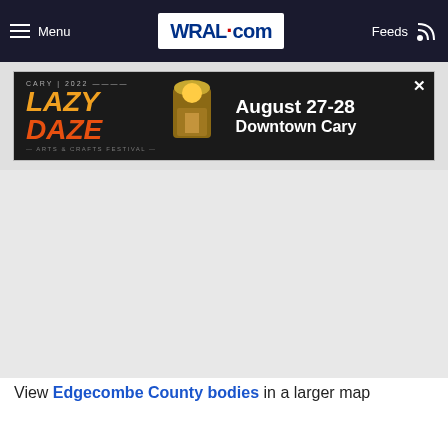Menu | WRAL.com | Feeds
[Figure (screenshot): Lazy Daze Arts & Crafts Festival advertisement banner — August 27-28, Downtown Cary]
[Figure (map): Embedded map area showing Edgecombe County bodies locations (map content not rendered)]
View Edgecombe County bodies in a larger map